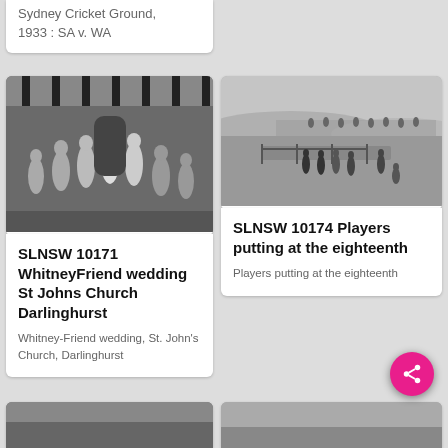Sydney Cricket Ground, 1933 : SA v. WA
[Figure (photo): Black and white photo of a wedding party outside St John's Church, Darlinghurst. Bride and groom in center with guests around them, black and white striped awning in background.]
SLNSW 10171 WhitneyFriend wedding St Johns Church Darlinghurst
Whitney-Friend wedding, St. John's Church, Darlinghurst
[Figure (photo): Black and white photo of golfers putting at the eighteenth hole on a links-style golf course with rolling landscape in background.]
SLNSW 10174 Players putting at the eighteenth
Players putting at the eighteenth
[Figure (photo): Partial view of bottom-left photo card, cut off]
[Figure (photo): Partial view of bottom-right photo card, cut off]